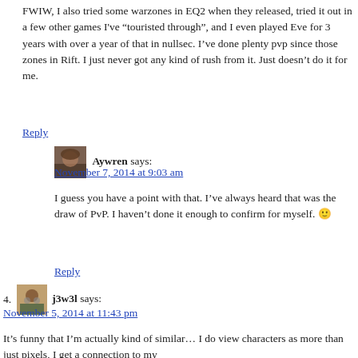FWIW, I also tried some warzones in EQ2 when they released, tried it out in a few other games I've “touristed through”, and I even played Eve for 3 years with over a year of that in nullsec. I’ve done plenty pvp since those zones in Rift. I just never got any kind of rush from it. Just doesn’t do it for me.
Reply
Aywren says:
November 7, 2014 at 9:03 am
I guess you have a point with that. I’ve always heard that was the draw of PvP. I haven’t done it enough to confirm for myself. 🙂
Reply
j3w3l says:
November 5, 2014 at 11:43 pm
It’s funny that I’m actually kind of similar… I do view characters as more than just pixels, I get a connection to my